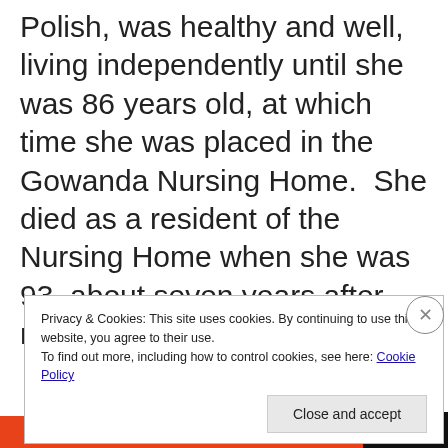Polish, was healthy and well, living independently until she was 86 years old, at which time she was placed in the Gowanda Nursing Home.  She died as a resident of the Nursing Home when she was 93, about seven years after moving there.
Privacy & Cookies: This site uses cookies. By continuing to use this website, you agree to their use.
To find out more, including how to control cookies, see here: Cookie Policy
Close and accept